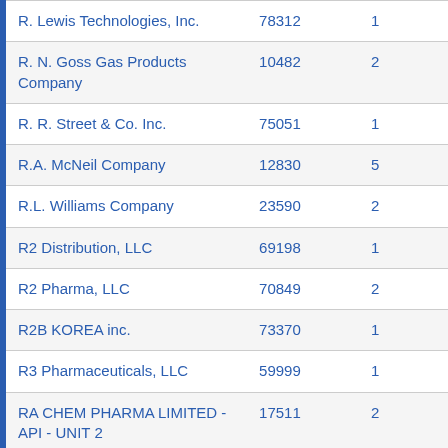| R. Lewis Technologies, Inc. | 78312 | 1 |
| R. N. Goss Gas Products Company | 10482 | 2 |
| R. R. Street & Co. Inc. | 75051 | 1 |
| R.A. McNeil Company | 12830 | 5 |
| R.L. Williams Company | 23590 | 2 |
| R2 Distribution, LLC | 69198 | 1 |
| R2 Pharma, LLC | 70849 | 2 |
| R2B KOREA inc. | 73370 | 1 |
| R3 Pharmaceuticals, LLC | 59999 | 1 |
| RA CHEM PHARMA LIMITED - API - UNIT 2 | 17511 | 2 |